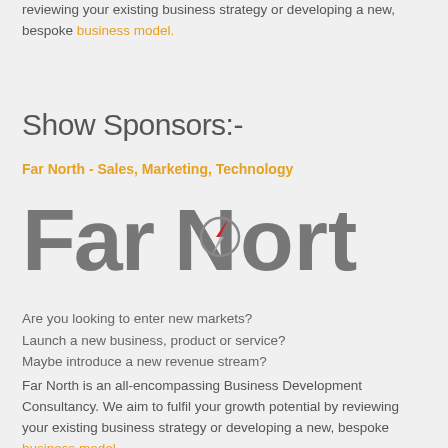reviewing your existing business strategy or developing a new, bespoke business model.
Show Sponsors:-
Far North - Sales, Marketing, Technology
[Figure (logo): FarNorth logo in grey text with a compass needle icon in the letter N showing a red arrow pointing northeast]
Are you looking to enter new markets?
Launch a new business, product or service?
Maybe introduce a new revenue stream?
Far North is an all-encompassing Business Development Consultancy. We aim to fulfil your growth potential by reviewing your existing business strategy or developing a new, bespoke business model.